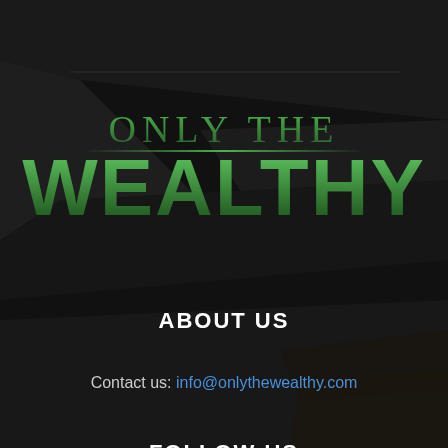[Figure (logo): Only The Wealthy logo with green gradient text on dark background with geometric angular panels]
ABOUT US
Contact us: info@onlythewealthy.com
FOLLOW US